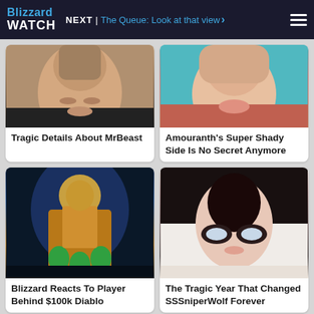Blizzard Watch — NEXT | The Queue: Look at that view
[Figure (photo): Close-up photo of MrBeast's face]
Tragic Details About MrBeast
[Figure (photo): Close-up photo of Amouranth's face]
Amouranth's Super Shady Side Is No Secret Anymore
[Figure (photo): Blizzard game character in golden armor]
Blizzard Reacts To Player Behind $100k Diablo
[Figure (photo): Close-up photo of SSSniperWolf's face with glasses]
The Tragic Year That Changed SSSniperWolf Forever